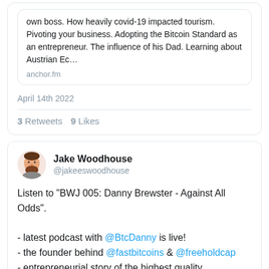own boss. How heavily covid-19 impacted tourism. Pivoting your business. Adopting the Bitcoin Standard as an entrepreneur. The influence of his Dad. Learning about Austrian Ec…
anchor.fm
April 14th 2022
3 Retweets  9 Likes
Jake Woodhouse @jakeeswoodhouse
Listen to "BWJ 005: Danny Brewster - Against All Odds".

- latest podcast with @BtcDanny is live!
- the founder behind @fastbitcoins & @freeholdcap
- entrepreneurial story of the highest quality